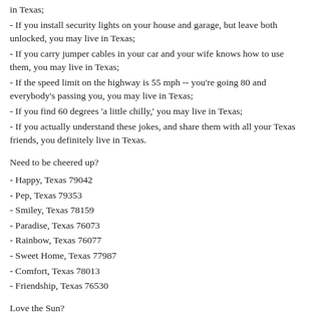in Texas;
- If you install security lights on your house and garage, but leave both unlocked, you may live in Texas;
- If you carry jumper cables in your car and your wife knows how to use them, you may live in Texas;
- If the speed limit on the highway is 55 mph -- you're going 80 and everybody's passing you, you may live in Texas;
- If you find 60 degrees 'a little chilly,' you may live in Texas;
- If you actually understand these jokes, and share them with all your Texas friends, you definitely live in Texas.
Need to be cheered up?
- Happy, Texas 79042
- Pep, Texas 79353
- Smiley, Texas 78159
- Paradise, Texas 76073
- Rainbow, Texas 76077
- Sweet Home, Texas 77987
- Comfort, Texas 78013
- Friendship, Texas 76530
Love the Sun?